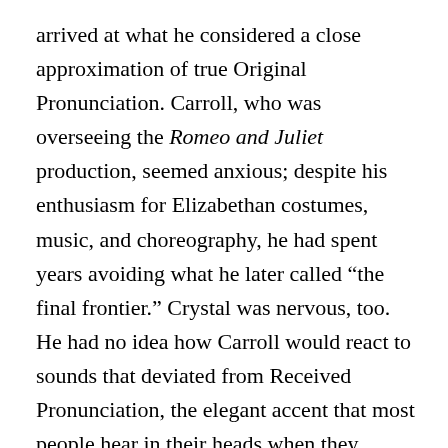arrived at what he considered a close approximation of true Original Pronunciation. Carroll, who was overseeing the Romeo and Juliet production, seemed anxious; despite his enthusiasm for Elizabethan costumes, music, and choreography, he had spent years avoiding what he later called “the final frontier.” Crystal was nervous, too. He had no idea how Carroll would react to sounds that deviated from Received Pronunciation, the elegant accent that most people hear in their heads when they imagine Shakespeare’s voice. RP, as it is known—the accent of the Queen, Shakespeare in Love, and legions of documentary narrators—is in fact a product of the 18th and 19th centuries, when obsessions with class, manners, and proper English swept Britain,